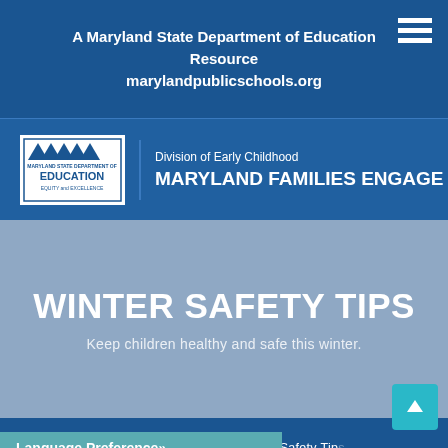A Maryland State Department of Education Resource
marylandpublicschools.org
[Figure (logo): Maryland State Department of Education logo with EQUITY and EXCELLENCE tagline, white box on blue background]
Division of Early Childhood
MARYLAND FAMILIES ENGAGE
WINTER SAFETY TIPS
Keep children healthy and safe this winter.
Home \ Resources \ Winter Safety Tips
Language Preference»